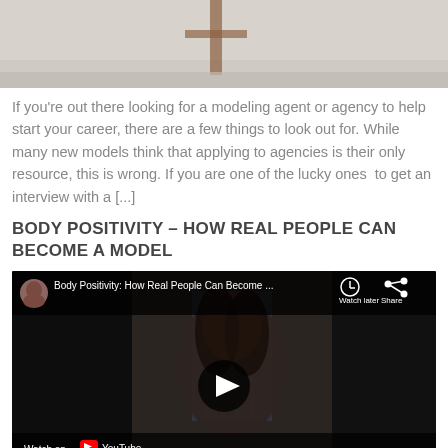[Figure (photo): Top portion of an image, light background with a wooden post or cross visible at center top]
If you're out there looking for a modeling agent or agency to help start your career, there are a few things to look out for. While many new models think that applying to agencies is their only resource, this is wrong. If you are one of the lucky ones  to get an interview with a [...]
BODY POSITIVITY – HOW REAL PEOPLE CAN BECOME A MODEL
[Figure (screenshot): YouTube video screenshot titled 'Body Positivity: How Real People Can Become...' showing a woman with dark hair in front of a city building, with a play button overlay, Watch later and Share buttons in the top bar, and Watch on YouTube footer.]